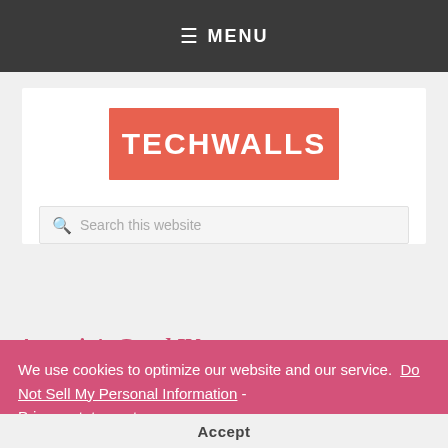≡ MENU
[Figure (logo): TECHWALLS logo — white bold text on coral/salmon orange rectangular background]
Search this website
We use cookies to optimize our website and our service.  Do Not Sell My Personal Information  -  Privacy statement
Assassin's Creed IV: Black Flag Trailer Leaked, Shows Release Date